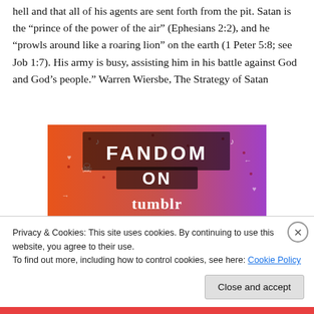hell and that all of his agents are sent forth from the pit. Satan is the “prince of the power of the air” (Ephesians 2:2), and he “prowls around like a roaring lion” on the earth (1 Peter 5:8; see Job 1:7). His army is busy, assisting him in his battle against God and God’s people.” Warren Wiersbe, The Strategy of Satan
[Figure (screenshot): Fandom on Tumblr banner image with colorful orange-to-purple gradient background with doodles, displaying 'FANDOM ON tumblr' in large text.]
Privacy & Cookies: This site uses cookies. By continuing to use this website, you agree to their use.
To find out more, including how to control cookies, see here: Cookie Policy